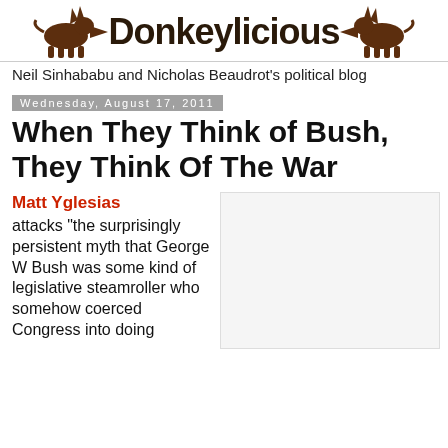[Figure (logo): Donkeylicious blog logo with two donkey silhouettes flanking bold text reading 'Donkeylicious']
Neil Sinhababu and Nicholas Beaudrot's political blog
Wednesday, August 17, 2011
When They Think of Bush, They Think Of The War
Matt Yglesias attacks "the surprisingly persistent myth that George W Bush was some kind of legislative steamroller who somehow coerced Congress into doing
[Figure (other): Light gray empty box/image placeholder on the right side of the content area]